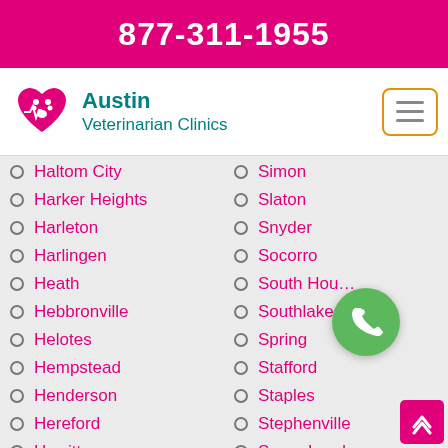877-311-1955
[Figure (logo): Austin Veterinarian Clinics logo with pink heart and paw icon]
Haltom City
Harker Heights
Harleton
Harlingen
Heath
Hebbronville
Helotes
Hempstead
Henderson
Hereford
Hewitt
Hickory Creek
Hidalgo
Simon
Slaton
Snyder
Socorro
South Houston
Southlake
Spring
Stafford
Staples
Stephenville
Sugar Land
Sulphur Springs
Sunnyvale